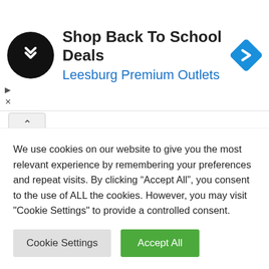[Figure (advertisement): Ad banner for Leesburg Premium Outlets with black circular logo containing white infinity-like symbol, text 'Shop Back To School Deals' and 'Leesburg Premium Outlets' in blue, and a blue diamond navigation icon on the right]
[Figure (screenshot): Yellow-green (lime) colored content area below a collapse button row]
We use cookies on our website to give you the most relevant experience by remembering your preferences and repeat visits. By clicking “Accept All”, you consent to the use of ALL the cookies. However, you may visit "Cookie Settings" to provide a controlled consent.
Cookie Settings
Accept All